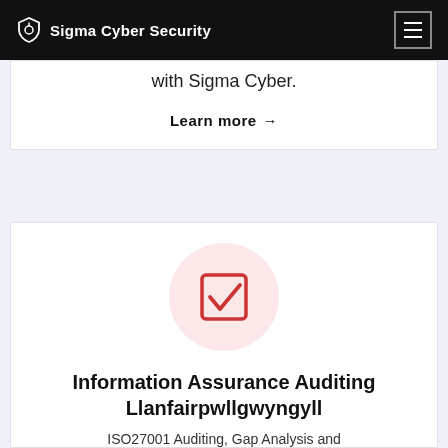Sigma Cyber Security
with Sigma Cyber.
Learn more →
[Figure (illustration): Pink circular background with a red checkbox icon (square with checkmark) in the center]
Information Assurance Auditing Llanfairpwllgwyngyll
ISO27001 Auditing, Gap Analysis and